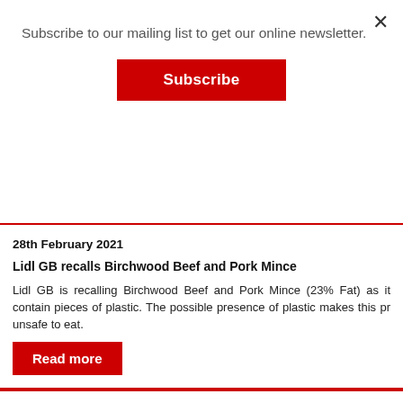Subscribe to our mailing list to get our online newsletter.
Subscribe
×
28th February 2021
Lidl GB recalls Birchwood Beef and Pork Mince
Lidl GB is recalling Birchwood Beef and Pork Mince (23% Fat) as it contain pieces of plastic. The possible presence of plastic makes this product unsafe to eat.
Read more
26th February 2021
[Figure (photo): Photo of pine tree branches with a white deer ornament and a hand, partially visible at bottom of page.]